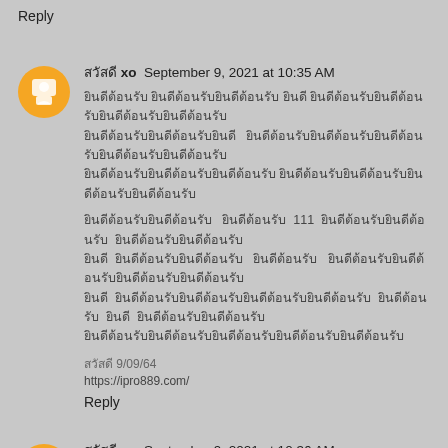Reply
สวัสดี xo  September 9, 2021 at 10:35 AM
Thai body text paragraph 1
Thai body text paragraph 2 with 111
สวัสดี 9/09/64
https://ipro889.com/
Reply
สวัสดี xo  September 9, 2021 at 10:36 AM
Thai body text paragraph